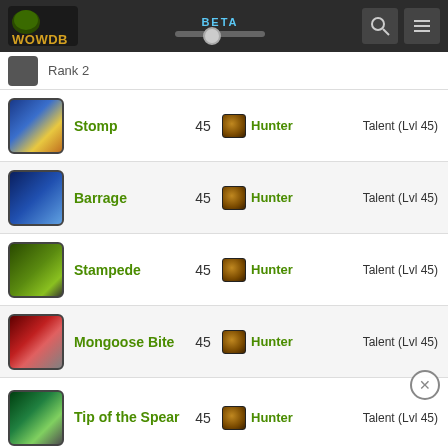WOWDB BETA
Rank 2
Stomp | 45 | Hunter | Talent (Lvl 45)
Barrage | 45 | Hunter | Talent (Lvl 45)
Stampede | 45 | Hunter | Talent (Lvl 45)
Mongoose Bite | 45 | Hunter | Talent (Lvl 45)
Tip of the Spear | 45 | Hunter | Talent (Lvl 45)
Lethal Shots | 45 | Hunter | Talent (Lvl 45)
Double Tap | 45 | Hunter | Talent (Lvl 45)